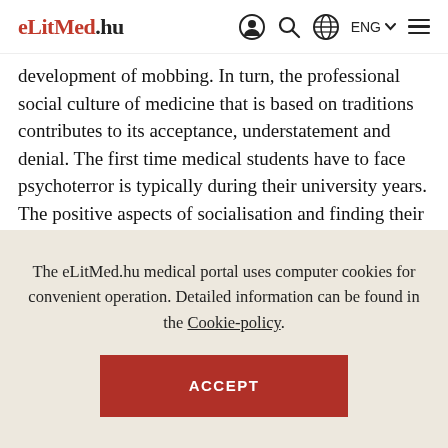eLitMed.hu — navigation header with icons and ENG language selector
development of mobbing. In turn, the professional social culture of medicine that is based on traditions contributes to its acceptance, understatement and denial. The first time medical students have to face psychoterror is typically during their university years. The positive aspects of socialisation and finding their vocation cannot always compensate for the negative experiences. The model role of physicians, their behaviour towards colleagues and students can be
The eLitMed.hu medical portal uses computer cookies for convenient operation. Detailed information can be found in the Cookie-policy.
ACCEPT